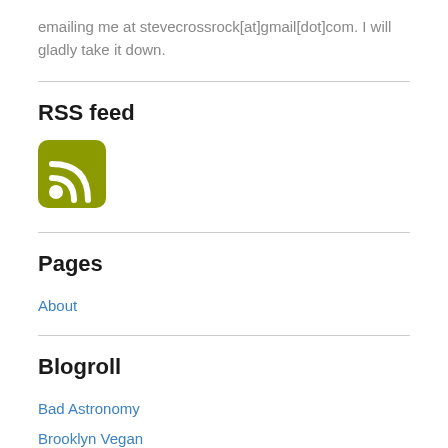emailing me at stevecrossrock[at]gmail[dot]com. I will gladly take it down.
RSS feed
[Figure (logo): RSS feed icon — olive green rounded square with white WiFi/RSS signal symbol]
Pages
About
Blogroll
Bad Astronomy
Brooklyn Vegan
Dixie Downturn